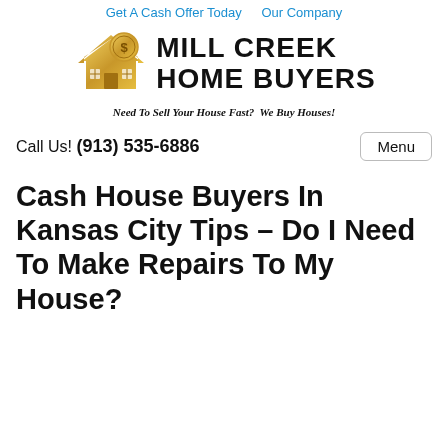Get A Cash Offer Today   Our Company
[Figure (logo): Mill Creek Home Buyers logo with golden house and dollar coin icon, bold text reading MILL CREEK HOME BUYERS, tagline: Need To Sell Your House Fast? We Buy Houses!]
Call Us! (913) 535-6886
Cash House Buyers In Kansas City Tips – Do I Need To Make Repairs To My House?